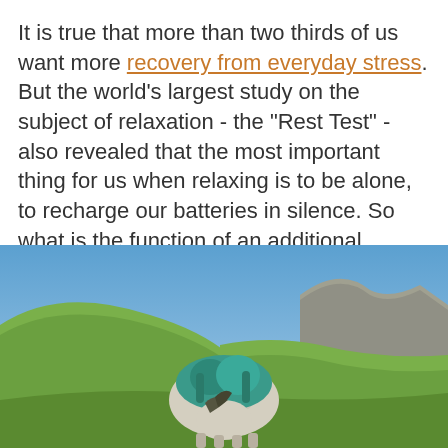It is true that more than two thirds of us want more recovery from everyday stress. But the world's largest study on the subject of relaxation - the "Rest Test" - also revealed that the most important thing for us when relaxing is to be alone, to recharge our batteries in silence. So what is the function of an additional donkey? Whose shouts go between 80 and 120 decibels can almost hurt your ears?
[Figure (photo): A donkey carrying a large teal/turquoise backpack stands in a mountain valley with green grassy slopes and rocky peaks under a blue sky.]